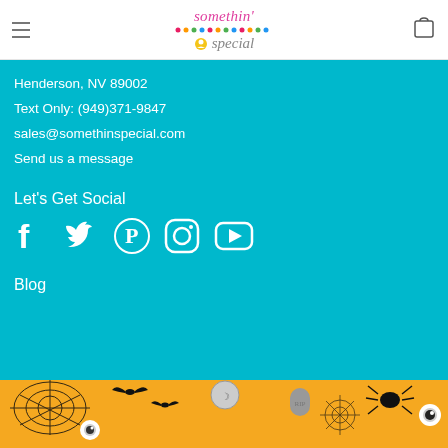somethin' special — navigation header with logo
Henderson, NV 89002
Text Only: (949)371-9847
sales@somethinspecial.com
Send us a message
Let's Get Social
[Figure (infographic): Social media icons: Facebook, Twitter, Pinterest, Instagram, YouTube — white icons on teal background]
Blog
[Figure (photo): Halloween themed flat lay photo on orange background featuring spiderwebs, bats, spider, eyeballs, jack-o-lantern candy bucket, and various Halloween decorations]